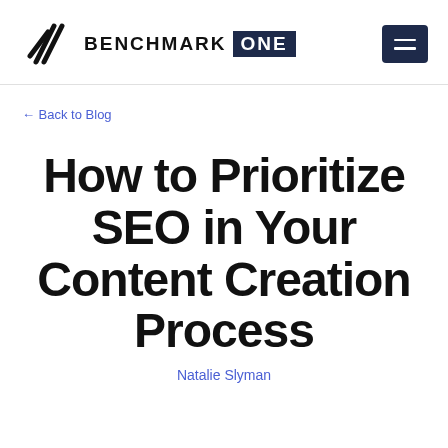BENCHMARK ONE
← Back to Blog
How to Prioritize SEO in Your Content Creation Process
Natalie Slyman